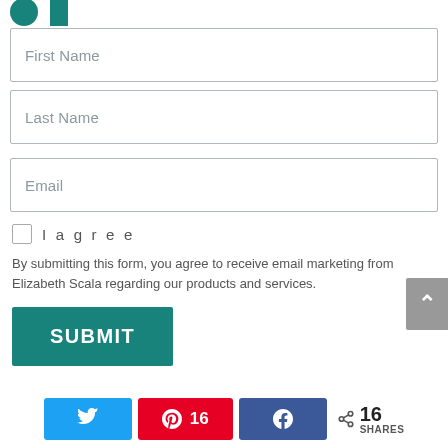[Figure (screenshot): Partial logo icons at top of page (green circle and green rectangle partially visible)]
First Name
Last Name
Email
I agree
By submitting this form, you agree to receive email marketing from Elizabeth Scala regarding our products and services.
SUBMIT
16 SHARES